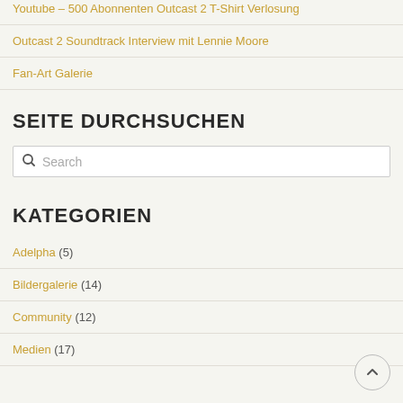Youtube – 500 Abonnenten Outcast 2 T-Shirt Verlosung
Outcast 2 Soundtrack Interview mit Lennie Moore
Fan-Art Galerie
SEITE DURCHSUCHEN
Search
KATEGORIEN
Adelpha (5)
Bildergalerie (14)
Community (12)
Medien (17)